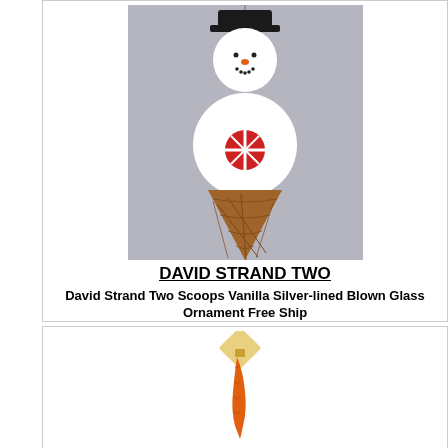[Figure (photo): Snowman blown glass ornament shaped like an ice cream cone, wearing a black top hat, with a red candy decoration on the white glass body]
DAVID STRAND TWO
David Strand Two Scoops Vanilla Silver-lined Blown Glass Ornament Free Ship
David Strand Designs. Davids Designs Are Conceived
$43.00
[Figure (photo): Orange glass ornament shaped like a curved carrot or horn, hanging from a gold cap with a small diamond-shaped tag]